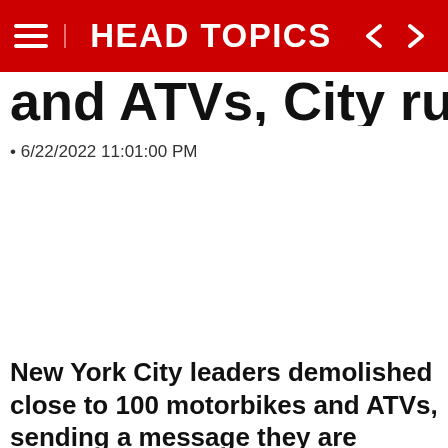HEAD TOPICS
and ATVs, City rules
6/22/2022 11:01:00 PM
New York City leaders demolished close to 100 motorbikes and ATVs, sending a message they are cracking